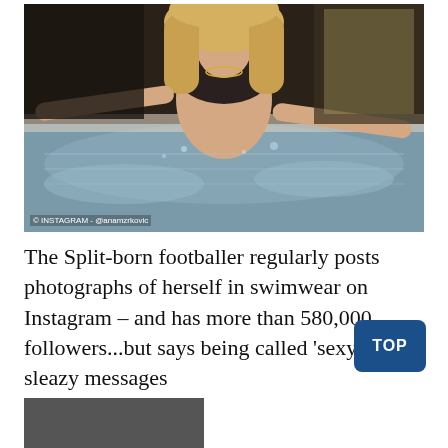[Figure (photo): Blonde woman in dark bikini standing in a hot tub with arms spread wide, indoor setting]
© INSTAGRAM - @anamzrkovic
The Split-born footballer regularly posts photographs of herself in swimwear on Instagram – and has more than 580,000 followers...but says being called 'sexy' sp sleazy messages